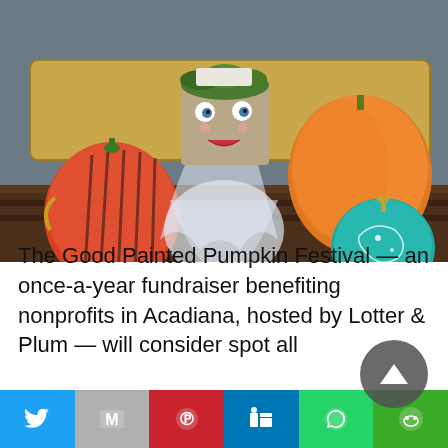[Figure (photo): Decorated pumpkins on a wooden table with hay bales in background. One pumpkin painted red like a watermelon with black seeds, one large box decorated as a ghost/bride figure with tulle and painted face with green moss hair, one large orange pumpkin, and one teal pumpkin with white floral design.]
The Good Painted Pumpkin Festival — an once-a-year fundraiser benefiting nonprofits in Acadiana, hosted by Lotter & Plum — will consider spot all
Twitter | Gmail | Pinterest | LinkedIn | WhatsApp | Line